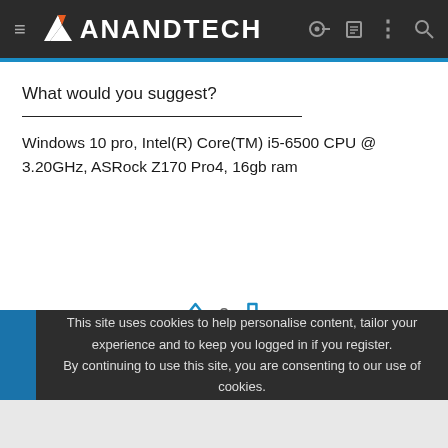AnandTech
What would you suggest?
Windows 10 pro, Intel(R) Core(TM) i5-6500 CPU @ 3.20GHz, ASRock Z170 Pro4, 16gb ram
This site uses cookies to help personalise content, tailor your experience and to keep you logged in if you register. By continuing to use this site, you are consenting to our use of cookies.